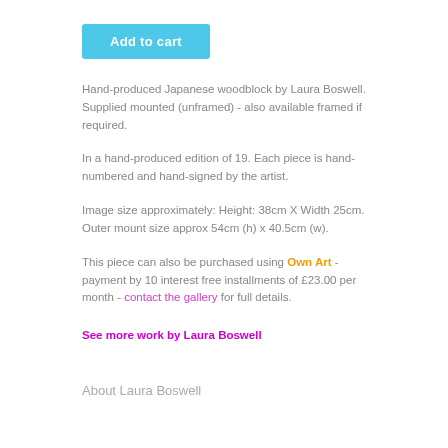Add to cart
Hand-produced Japanese woodblock by Laura Boswell. Supplied mounted (unframed) - also available framed if required.
In a hand-produced edition of 19. Each piece is hand-numbered and hand-signed by the artist.
Image size approximately: Height: 38cm X Width 25cm. Outer mount size approx 54cm (h) x 40.5cm (w).
This piece can also be purchased using Own Art - payment by 10 interest free installments of £23.00 per month - contact the gallery for full details.
See more work by Laura Boswell
About Laura Boswell